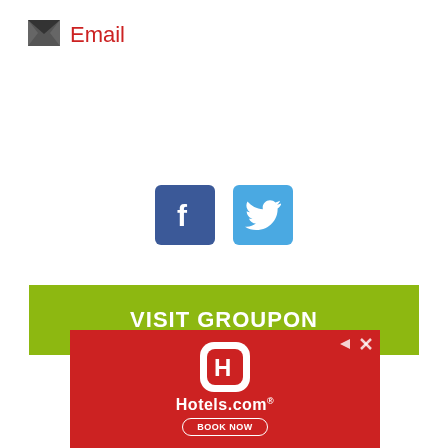Email
[Figure (infographic): Social sharing buttons: Facebook (blue square with f logo) and Twitter (light blue square with bird logo)]
[Figure (infographic): Green button with white bold text: VISIT GROUPON]
[Figure (infographic): Hotels.com advertisement banner on red background with app icon, Hotels.com text, and BOOK NOW button]